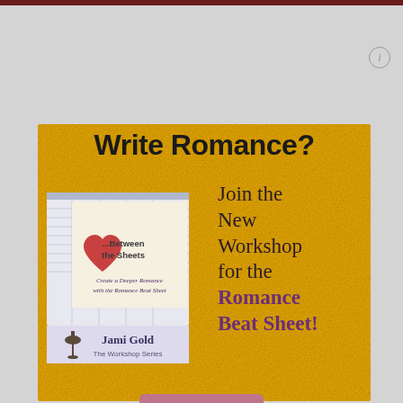[Figure (illustration): Promotional advertisement for Jami Gold's Romance Beat Sheet workshop on a golden/yellow textured background. Text reads 'Write Romance?' at top, with a book cover image for '...Between the Sheets: Create a Deeper Romance with the Romance Beat Sheet' by Jami Gold The Workshop Series on the left, and cursive text 'Join the New Workshop for the Romance Beat Sheet!' on the right.]